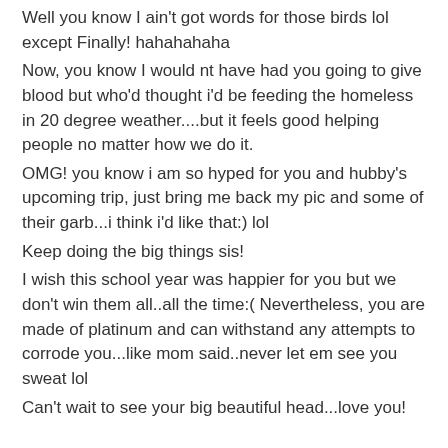Well you know I ain't got words for those birds lol except Finally! hahahahaha
Now, you know I would nt have had you going to give blood but who'd thought i'd be feeding the homeless in 20 degree weather....but it feels good helping people no matter how we do it.
OMG! you know i am so hyped for you and hubby's upcoming trip, just bring me back my pic and some of their garb...i think i'd like that:) lol
Keep doing the big things sis!
I wish this school year was happier for you but we don't win them all..all the time:( Nevertheless, you are made of platinum and can withstand any attempts to corrode you...like mom said..never let em see you sweat lol
Can't wait to see your big beautiful head...love you!